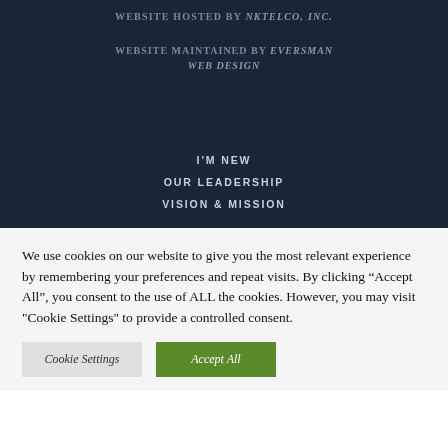WEBSITE HOSTED BY NKTELCO, INC.
WEBSITE MAINTAINED BY EVERSMAN WEB DESIGN
I'M NEW
OUR LEADERSHIP
VISION & MISSION
We use cookies on our website to give you the most relevant experience by remembering your preferences and repeat visits. By clicking “Accept All”, you consent to the use of ALL the cookies. However, you may visit "Cookie Settings" to provide a controlled consent.
Cookie Settings
Accept All